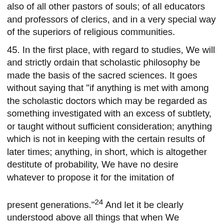also of all other pastors of souls; of all educators and professors of clerics, and in a very special way of the superiors of religious communities.
45. In the first place, with regard to studies, We will and strictly ordain that scholastic philosophy be made the basis of the sacred sciences. It goes without saying that "if anything is met with among the scholastic doctors which may be regarded as something investigated with an excess of subtlety, or taught without sufficient consideration; anything which is not in keeping with the certain results of later times; anything, in short, which is altogether destitute of probability, We have no desire whatever to propose it for the imitation of present generations."24 And let it be clearly understood above all things that when We prescribe scholastic philosophy We understand chiefly that which the Angelic Doctor has bequeathed to us, and We, therefore, declare that all the ordinances of Our predecessor on this subject continue fully in force, and, as far as may be necessary, We do decree anew, and confirm, and order that they shall be strictly observed by all. In seminaries where they have been neglected it will be for the Bishops to exact and require their observance in the future; and let this apply also to the